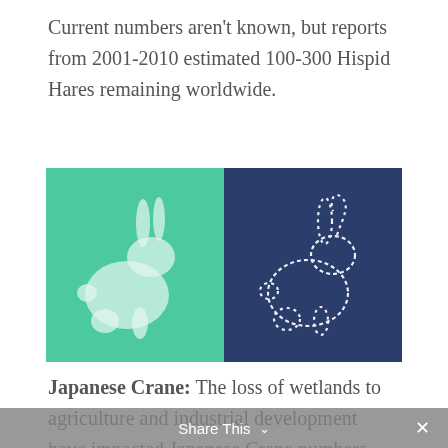Current numbers aren't known, but reports from 2001-2010 estimated 100-300 Hispid Hares remaining worldwide.
[Figure (illustration): Two-panel illustration: left panel has a teal/green background with a white silhouette of a hare (Hispid Hare); right panel has a dark navy background with a white outline/stippled drawing of a hare.]
Japanese Crane: The loss of wetlands to agriculture and industrial development have impacted Japanese Crane numbers. The global population is estimated around 2,750
Share This ∨   ×